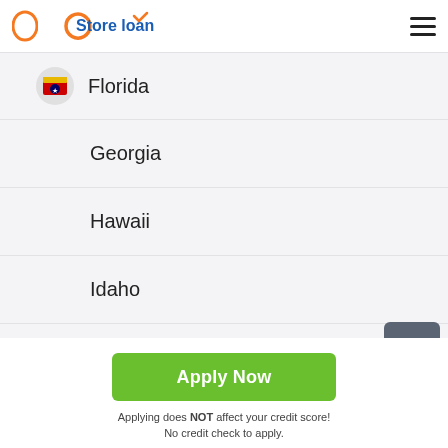Store loan
Florida
Georgia
Hawaii
Idaho
Illinois
Indiana
Apply Now
Applying does NOT affect your credit score!
No credit check to apply.